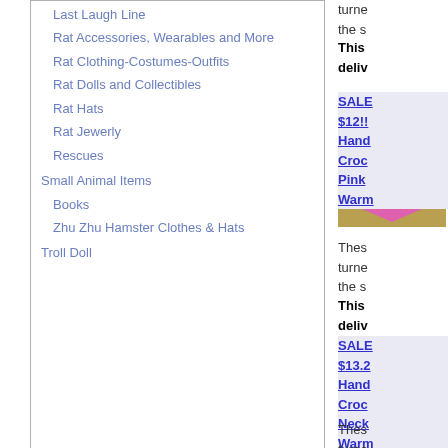Last Laugh Line
Rat Accessories, Wearables and More
Rat Clothing-Costumes-Outfits
Rat Dolls and Collectibles
Rat Hats
Rat Jewerly
Rescues
Small Animal Items
Books
Zhu Zhu Hamster Clothes & Hats
Troll Doll
These... turned... the s...
This deliv...
[Figure (photo): Pink crocheted neck warmer/bandana for small animals, laid flat on green surface with small dark button]
SALE $12!! Hand Croc Pink Warm...
These... turned... the s...
This deliv...
[Figure (photo): Pink crocheted neck warmer for small animals, laid flat on green surface]
SALE $13.2 Hand Croc Neck Warm...
These... turned...